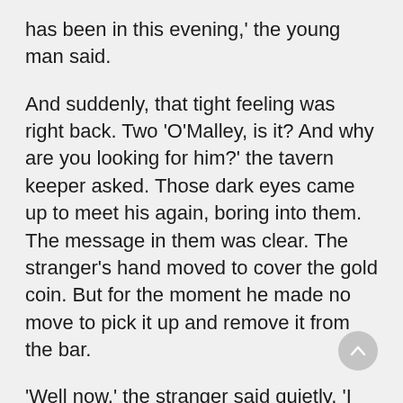has been in this evening,' the young man said.
And suddenly, that tight feeling was right back. Two 'O'Malley, is it? And why are you looking for him?' the tavern keeper asked. Those dark eyes came up to meet his again, boring into them. The message in them was clear. The stranger's hand moved to cover the gold coin. But for the moment he made no move to pick it up and remove it from the bar.
'Well now,' the stranger said quietly, 'I was wondering whose gold coin this was? Did you put it here, by any chance?' Before the tavern keeper could reply, he'd continued, 'No. I don't recall that happening. As I recall it, I was the one put it here, in return